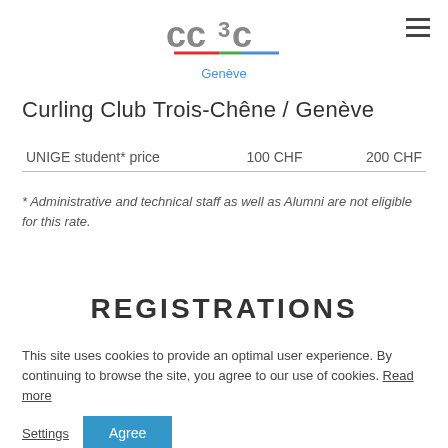[Figure (logo): cc3c Genève curling club logo with colored underlines and 'Genève' text below]
Curling Club Trois-Chêne / Genève
| UNIGE student* price | 100 CHF | 200 CHF |
* Administrative and technical staff as well as Alumni are not eligible for this rate.
REGISTRATIONS
This site uses cookies to provide an optimal user experience. By continuing to browse the site, you agree to our use of cookies. Read more
Settings  Agree